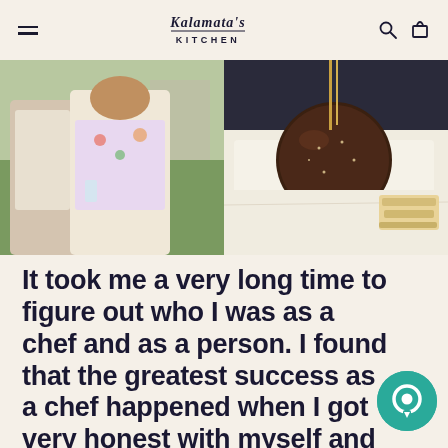Kalamata's Kitchen — navigation header with hamburger menu, logo, search and cart icons
[Figure (photo): Two photos side by side: left shows a couple outdoors with green grass background, the woman wearing a floral top; right shows a chocolate-covered dessert ball on white parchment paper with chips nearby]
It took me a very long time to figure out who I was as a chef and as a person. I found that the greatest success as a chef happened when I got very honest with myself and who I